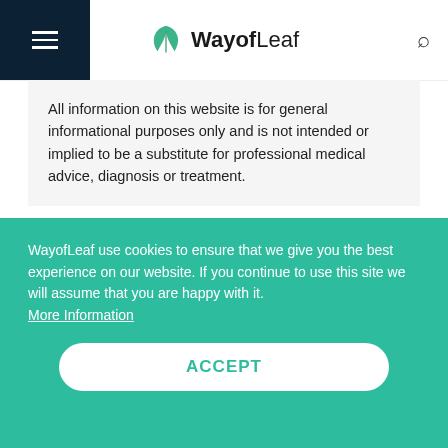WayofLeaf
All information on this website is for general informational purposes only and is not intended or implied to be a substitute for professional medical advice, diagnosis or treatment.
AFGOOEY CANNABIS STRAIN OVERVIEW
Afgooey is an indica-dominant hybrid descended...
WayofLeaf use cookies to ensure that we give you the best experience on our website. If you continue to use this site we will assume that you are happy with it. More Information
ACCEPT